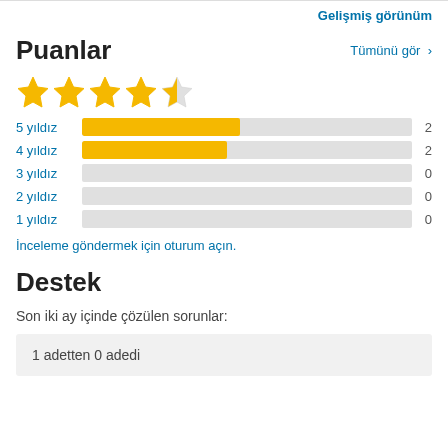Gelişmiş görünüm
Puanlar
[Figure (other): 4 full stars and 1 half star rating (4.5 out of 5)]
[Figure (bar-chart): Rating distribution]
İnceleme göndermek için oturum açın.
Destek
Son iki ay içinde çözülen sorunlar:
1 adetten 0 adedi